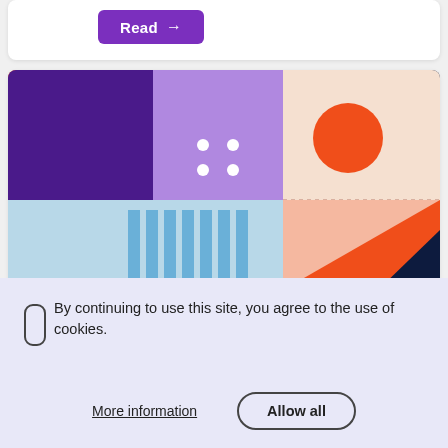[Figure (other): Purple 'Read →' button on a white card background]
[Figure (illustration): Abstract geometric illustration with orange diagonal stripe, purple square, light purple square with white dots, peach/cream area with orange circle, light blue area with blue vertical bars, salmon/peach triangle area, dark navy corner shapes]
By continuing to use this site, you agree to the use of cookies.
More information
Allow all